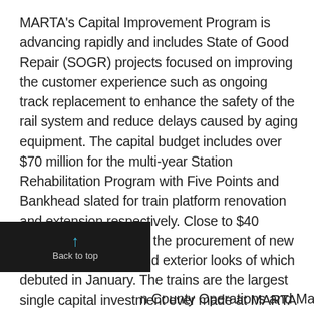MARTA's Capital Improvement Program is advancing rapidly and includes State of Good Repair (SOGR) projects focused on improving the customer experience such as ongoing track replacement to enhance the safety of the rail system and reduce delays caused by aging equipment. The capital budget includes over $70 million for the multi-year Station Rehabilitation Program with Five Points and Bankhead slated for train platform renovation and extension respectively. Close to $40 million is budgeted for the procurement of new railcars, the interior and exterior looks of which debuted in January. The trains are the largest single capital investment ever made at MARTA at over $600 million and the first railcar is set to arrive in metro Atlanta in
Back to top
n County Operations and Maintenance